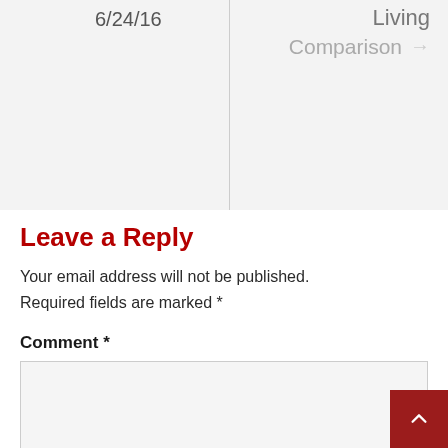6/24/16
Living
Comparison →
Leave a Reply
Your email address will not be published. Required fields are marked *
Comment *